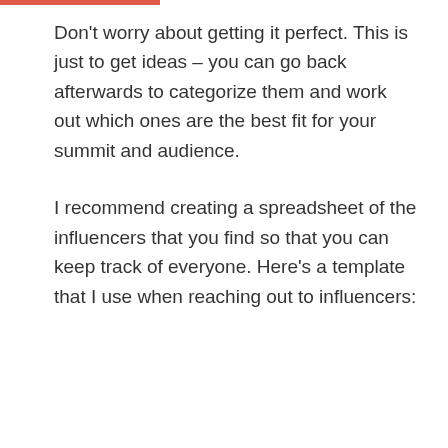Don't worry about getting it perfect. This is just to get ideas – you can go back afterwards to categorize them and work out which ones are the best fit for your summit and audience.
I recommend creating a spreadsheet of the influencers that you find so that you can keep track of everyone. Here's a template that I use when reaching out to influencers: